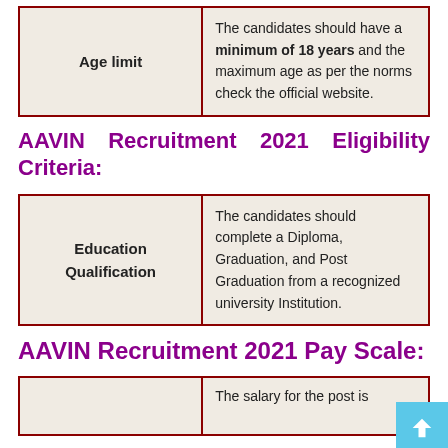| Age limit | Description |
| --- | --- |
| Age limit | The candidates should have a minimum of 18 years and the maximum age as per the norms check the official website. |
AAVIN Recruitment 2021 Eligibility Criteria:
| Education Qualification | Description |
| --- | --- |
| Education Qualification | The candidates should complete a Diploma, Graduation, and Post Graduation from a recognized university Institution. |
AAVIN Recruitment 2021 Pay Scale:
|  | Description |
| --- | --- |
|  | The salary for the post is |